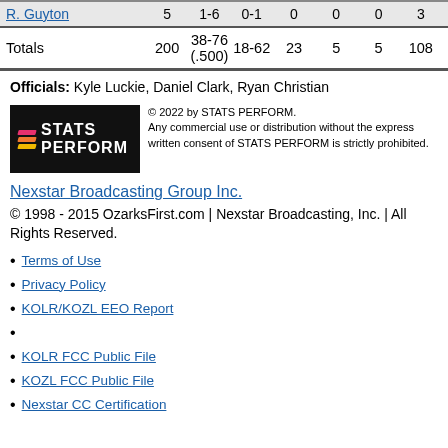| Player | Min | FG | 3PT | REB | AST | STL | PTS |
| --- | --- | --- | --- | --- | --- | --- | --- |
| R. Guyton | 5 | 1-6 | 0-1 | 0 | 0 | 0 | 3 |
| Totals | 200 | 38-76 (.500) | 18-62 | 23 | 5 | 5 | 108 |
Officials: Kyle Luckie, Daniel Clark, Ryan Christian
[Figure (logo): STATS PERFORM logo with colored slashes]
© 2022 by STATS PERFORM. Any commercial use or distribution without the express written consent of STATS PERFORM is strictly prohibited.
Nexstar Broadcasting Group Inc.
© 1998 - 2015 OzarksFirst.com | Nexstar Broadcasting, Inc. | All Rights Reserved.
Terms of Use
Privacy Policy
KOLR/KOZL EEO Report
KOLR FCC Public File
KOZL FCC Public File
Nexstar CC Certification